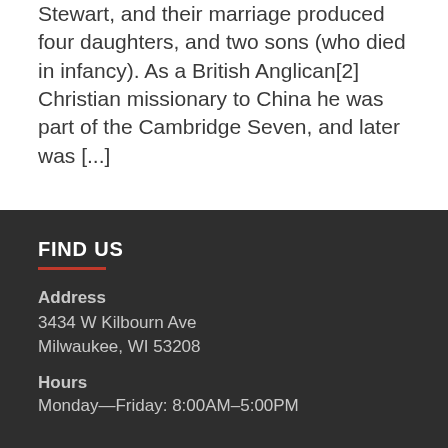Stewart, and their marriage produced four daughters, and two sons (who died in infancy). As a British Anglican[2] Christian missionary to China he was part of the Cambridge Seven, and later was [...]
FIND US
Address
3434 W Kilbourn Ave
Milwaukee, WI 53208
Hours
Monday—Friday: 8:00AM–5:00PM